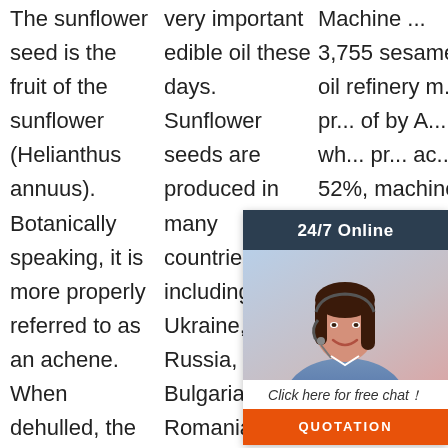The sunflower seed is the fruit of the sunflower (Helianthus annuus). Botanically speaking, it is more properly referred to as an achene. When dehulled, the edible remainder is called the
very important edible oil these days. Sunflower seeds are produced in many countries including Ukraine, Russia, China, Bulgaria, Romania, United republic of Tanzania, Turkey, Hungry, France, and Argentina etc.
Machine ... 3,755 sesame oil refinery m... pr... of by A... wh... pr... ac... 52%, machine oil purifier accounts for 4%. A wide variety of
[Figure (other): Chat widget overlay showing a customer service representative with headset, '24/7 Online' header, 'Click here for free chat!' text, and orange QUOTATION button]